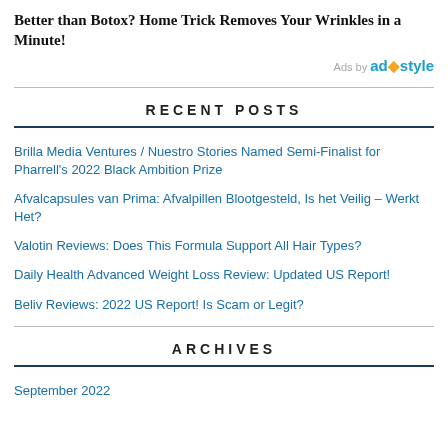Better than Botox? Home Trick Removes Your Wrinkles in a Minute!
Ads by ad·style
RECENT POSTS
Brilla Media Ventures / Nuestro Stories Named Semi-Finalist for Pharrell's 2022 Black Ambition Prize
Afvalcapsules van Prima: Afvalpillen Blootgesteld, Is het Veilig – Werkt Het?
Valotin Reviews: Does This Formula Support All Hair Types?
Daily Health Advanced Weight Loss Review: Updated US Report!
Beliv Reviews: 2022 US Report! Is Scam or Legit?
ARCHIVES
September 2022